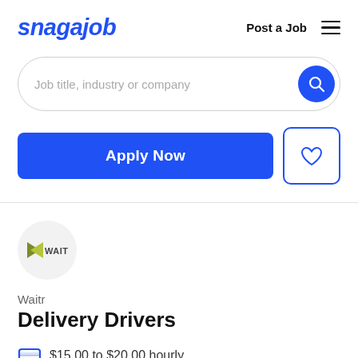[Figure (logo): Snagajob logo in bold italic blue text]
Post a Job
[Figure (screenshot): Search input field with placeholder 'Job title, industry or company' and a blue circular search button]
[Figure (screenshot): Blue 'Apply Now' button and a white heart/save button with blue border]
[Figure (logo): Waitr company logo circle with bow tie icon and WAITR text]
Waitr
Delivery Drivers
$15.00 to $20.00 hourly